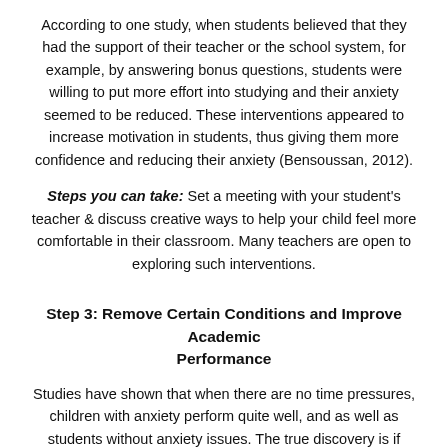According to one study, when students believed that they had the support of their teacher or the school system, for example, by answering bonus questions, students were willing to put more effort into studying and their anxiety seemed to be reduced. These interventions appeared to increase motivation in students, thus giving them more confidence and reducing their anxiety (Bensoussan, 2012).
Steps you can take: Set a meeting with your student's teacher & discuss creative ways to help your child feel more comfortable in their classroom. Many teachers are open to exploring such interventions.
Step 3: Remove Certain Conditions and Improve Academic Performance
Studies have shown that when there are no time pressures, children with anxiety perform quite well, and as well as students without anxiety issues. The true discovery is if certain conditions are removed, students with anxiety can experience less anxiety and their performance can be optimized. Further, reduced anxiety can help improve motivation in a student which can also translate into better academic performance (Hill & Winfield, 1994).